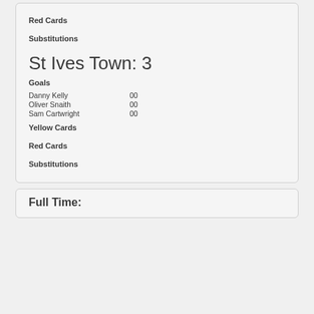Red Cards
Substitutions
St Ives Town: 3
Goals
Danny Kelly   00
Oliver Snaith   00
Sam Cartwright   00
Yellow Cards
Red Cards
Substitutions
Full Time: